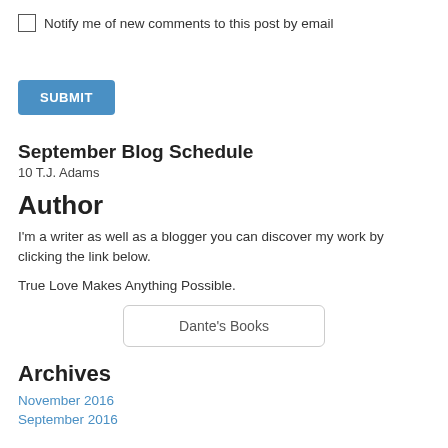Notify me of new comments to this post by email
[Figure (other): Blue SUBMIT button]
September Blog Schedule
10 T.J. Adams
Author
I'm a writer as well as a blogger you can discover my work by clicking the link below.
True Love Makes Anything Possible.
[Figure (other): Dante's Books button/link]
Archives
November 2016
September 2016